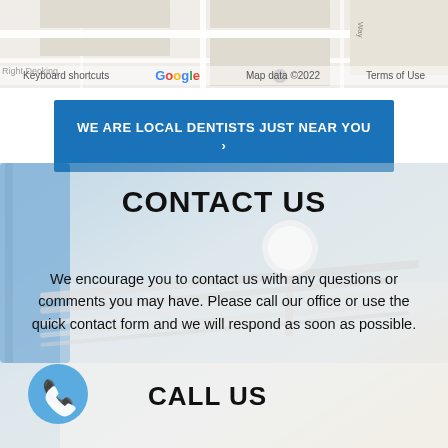[Figure (screenshot): Google Maps partial view showing street map with 'Right Decking' label, Google logo, keyboard shortcuts, map data copyright 2022, and Terms of Use]
WE ARE LOCAL DENTISTS JUST NEAR YOU ›
CONTACT US
We encourage you to contact us with any questions or comments you may have. Please call our office or use the quick contact form and we will respond as soon as possible.
[Figure (illustration): Blue circular phone icon with white handset]
CALL US